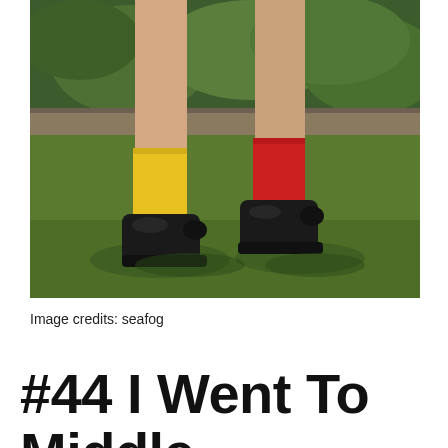[Figure (photo): Vintage photograph showing two children's legs from the knees down, one wearing a yellow sock and black shoe, the other wearing a red sock and black shoe, standing on a green lawn with garden vegetation in the background.]
Image credits: seafog
#44 I Went To Middle School Like This For